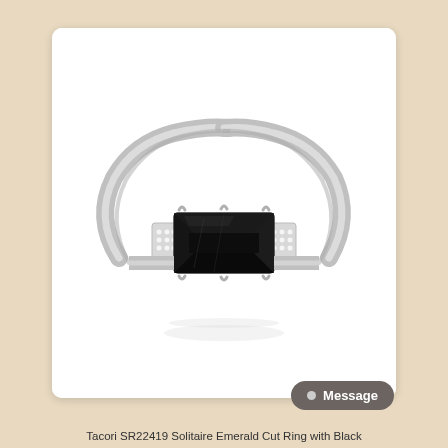[Figure (photo): Product photo of a Tacori SR22419 Solitaire Emerald Cut Ring with Black gemstone. The ring features a silver/white gold band with a large rectangular black emerald-cut center stone set horizontally, with small diamonds or pavé accents on either side of the stone. The ring is displayed on a white background inside a white rounded-corner card on a warm beige/tan background.]
Tacori SR22419 Solitaire Emerald Cut Ring with Black